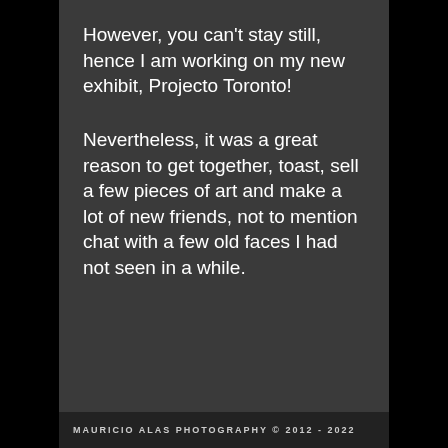However, you can't stay still, hence I am working on my new exhibit, Projecto Toronto!
Nevertheless, it was a great reason to get together, toast, sell a few pieces of art and make a lot of new friends, not to mention chat with a few old faces I had not seen in a while.
MAURICIO ALAS PHOTOGRAPHY © 2012 - 2022